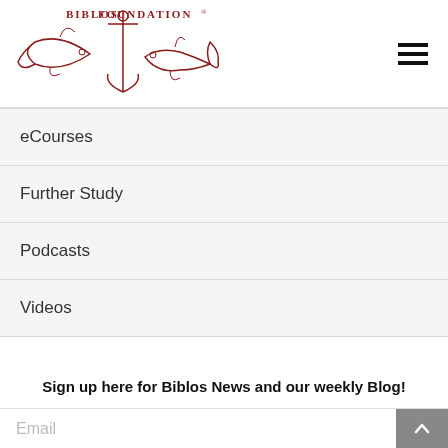[Figure (logo): Biblos Foundation logo with anchor and two fish in dark red/maroon, with text 'BIBLOS FOUNDATION' above]
eCourses
Further Study
Podcasts
Videos
Sign up here for Biblos News and our weekly Blog!